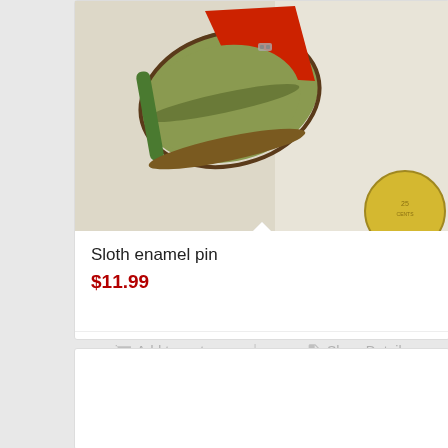[Figure (photo): Photo of a sloth enamel pin, colorful with red and green tones, shown with a coin for scale]
Sloth enamel pin
$11.99
Add to cart
Show Details
[Figure (photo): Partial view of a second product card, mostly empty/white]